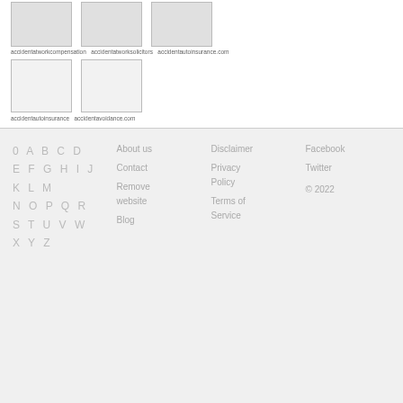[Figure (screenshot): Row of three website thumbnail screenshots for accidentatworkcompensation, accidentatworksolicitors, accidentautoinsurance.com]
accidentatworkcompensation   accidentatworksolicitors   accidentautoinsurance.com
[Figure (screenshot): Row of two blank/placeholder website thumbnail screenshots for accidentautoinsurance and accidentavoidance.com]
accidentautoinsurance   accidentavoidance.com
0 A B C D
E F G H I J
K L M
N O P Q R
S T U V W
X Y Z
About us
Contact
Remove website
Blog
Disclaimer
Privacy Policy
Terms of Service
Facebook
Twitter
© 2022